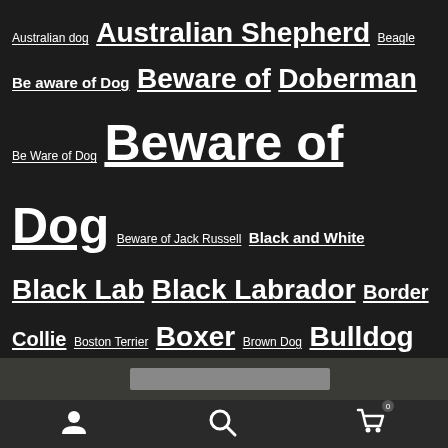Australian dog Australian Shepherd Beagle Be aware of Dog Beware of Doberman Be Ware of Dog Beware of Dog Beware of Jack Russell Black and White Black Lab Black Labrador Border Collie Boston Terrier Boxer Brown Dog Bulldog Bull Dog Cartoon Dogs Cartoonish Dogs cattle dog Chihuahua Chocolate Lab Chocolate Labrador Chow Collie Dachshund Dalmatian Danger Dog Doberman English Bulldog English Bull Dog Enlightened Dog folk art Folk art Doberman German Shepherd Ginger Cat Gray Cat Grey Cat Jack Russell Jack Russell Terrier naive art no lettering Pit Bull Tabby Cat Tibetan script
[Figure (screenshot): Bottom navigation bar with user icon, search icon, and shopping cart icon with badge showing 0]